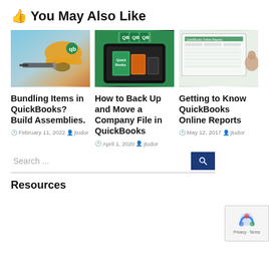👍 You May Also Like
[Figure (photo): Construction worker with drill and QuickBooks logo hardhat]
[Figure (photo): QuickBooks software product boxes on tablet display with award badges]
[Figure (photo): Person at computer looking at QuickBooks Online reports dashboard]
Bundling Items in QuickBooks? Build Assemblies.
How to Back Up and Move a Company File in QuickBooks
Getting to Know QuickBooks Online Reports
February 11, 2022  jtudor
April 1, 2020  jtudor
May 12, 2017  jtudor
Search ...
Resources